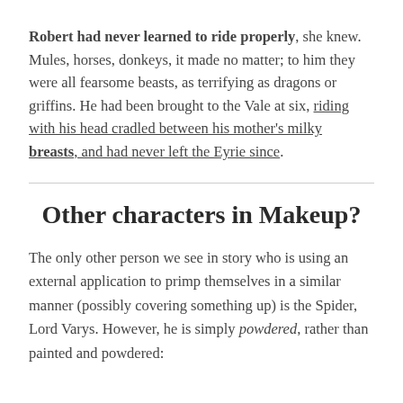Robert had never learned to ride properly, she knew. Mules, horses, donkeys, it made no matter; to him they were all fearsome beasts, as terrifying as dragons or griffins. He had been brought to the Vale at six, riding with his head cradled between his mother's milky breasts, and had never left the Eyrie since.
Other characters in Makeup?
The only other person we see in story who is using an external application to primp themselves in a similar manner (possibly covering something up) is the Spider, Lord Varys. However, he is simply powdered, rather than painted and powdered: